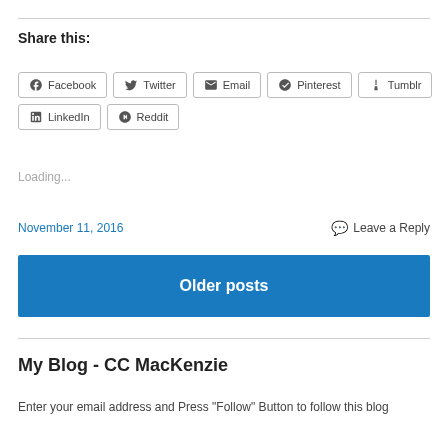Share this:
Facebook  Twitter  Email  Pinterest  Tumblr  LinkedIn  Reddit
Loading...
November 11, 2016    Leave a Reply
Older posts
My Blog - CC MacKenzie
Enter your email address and Press "Follow" Button to follow this blog